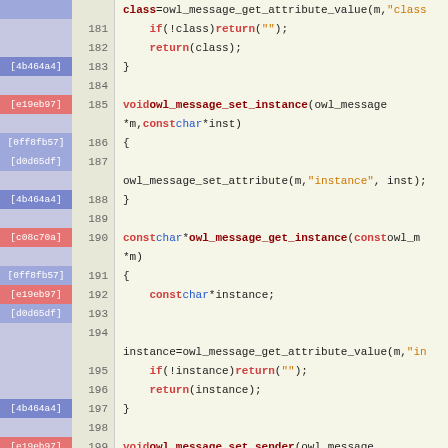[Figure (screenshot): Source code viewer showing C code for owl_message functions (set_instance, get_instance, set_sender, get_sender) with line numbers 181-206, git blame annotations in colored columns on the left showing commit hashes [4b464a4], [e19eb97], [0ff8fb57], [d0d65df], [c08c70a].]